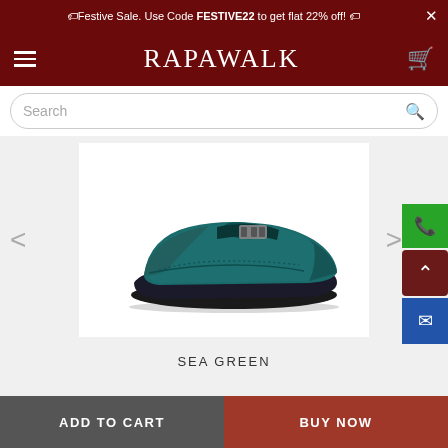Festive Sale. Use Code FESTIVE22 to get flat 22% off!
RAPAWALK
Search
[Figure (photo): Sea green suede loafer/moccasin shoe with a decorative buckle strap and dark rubber sole, shown in profile view against a white background]
SEA GREEN
ADD TO CART
BUY NOW